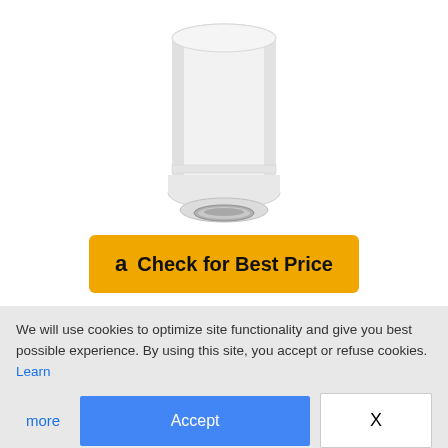[Figure (photo): White cylindrical Munchkin Step diaper pail product photo, showing the bottom half of the unit with a foot pedal and chrome accent]
Check for Best Price
We noticed the Munchkin Step diaper Pail to be a combination of beautiful sleek design and excellent
We will use cookies to optimize site functionality and give you best possible experience. By using this site, you accept or refuse cookies. Learn more
Accept
X